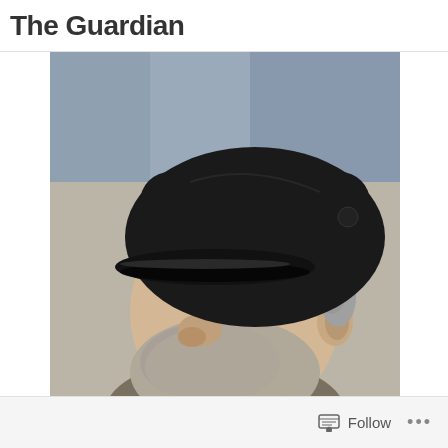The Guardian
[Figure (photo): Close-up profile photo of a middle-aged man with gray beard and mustache, wearing a black flat cap, looking downward. Background is blurred gray/blue tones.]
Follow ...